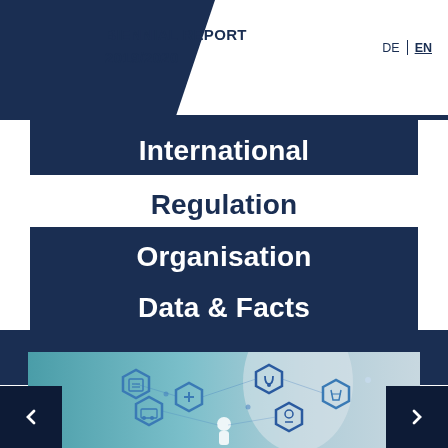BIENNIAL REPORT 2019/2020
International
Regulation
Organisation
Data & Facts
[Figure (photo): Medical professional with digital healthcare hexagon network icons overlay including stethoscope, ambulance, cross, and medical symbols on a teal and light background]